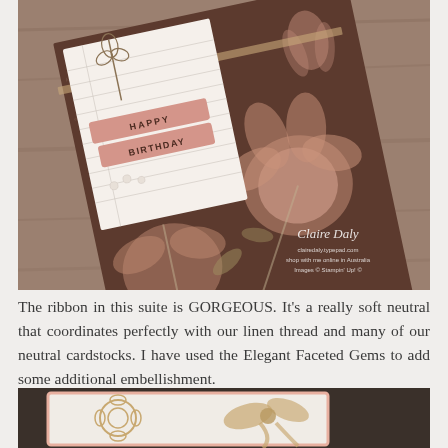[Figure (photo): A handmade birthday card with dark floral patterned paper (pink and brown magnolia flowers with script background), a smaller white grid-lined insert with 'HAPPY BIRTHDAY' stamped in pink on two banner strips, small pearl embellishments, resting on a wooden surface. Watermark reads: Claire Daly, clairedaly.typepad.com, shop with me online in Australia, Images © Stampin' Up! ©]
The ribbon in this suite is GORGEOUS. It's a really soft neutral that coordinates perfectly with our linen thread and many of our neutral cardstocks. I have used the Elegant Faceted Gems to add some additional embellishment.
[Figure (photo): Partial view of another handmade card with a cream/white background, a flower die cut accent, and a soft neutral ribbon tied in a bow, resting on a dark background. Only the top portion is visible.]